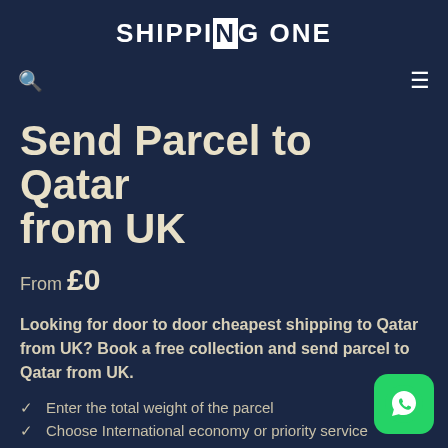SHIPPINGONE
Send Parcel to Qatar from UK
From £0
Looking for door to door cheapest shipping to Qatar from UK? Book a free collection and send parcel to Qatar from UK.
Enter the total weight of the parcel
Choose International economy or priority service